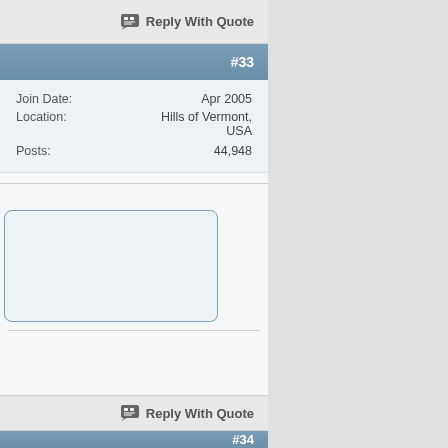Reply With Quote
#33
Join Date: Apr 2005
Location: Hills of Vermont, USA
Posts: 44,948
Reply With Quote
#34